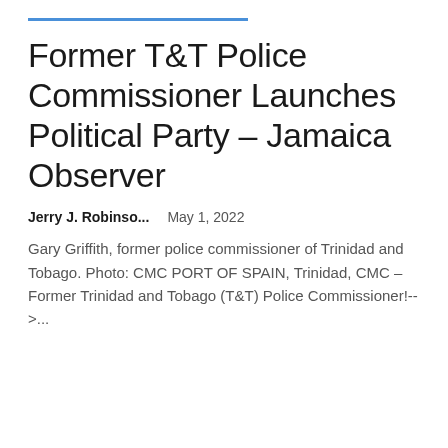Former T&T Police Commissioner Launches Political Party – Jamaica Observer
Jerry J. Robinso...   May 1, 2022
Gary Griffith, former police commissioner of Trinidad and Tobago. Photo: CMC PORT OF SPAIN, Trinidad, CMC – Former Trinidad and Tobago (T&T) Police Commissioner!-->...